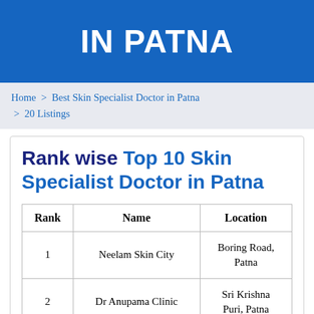IN PATNA
Home > Best Skin Specialist Doctor in Patna > 20 Listings
Rank wise Top 10 Skin Specialist Doctor in Patna
| Rank | Name | Location |
| --- | --- | --- |
| 1 | Neelam Skin City | Boring Road, Patna |
| 2 | Dr Anupama Clinic | Sri Krishna Puri, Patna |